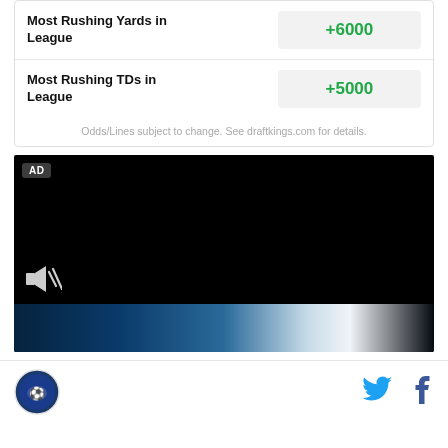| Bet | Odds |
| --- | --- |
| Most Rushing Yards in League | +6000 |
| Most Rushing TDs in League | +5000 |
Odds/Lines subject to change. See draftkings.com for details.
[Figure (screenshot): Black video player with AD label in top-left, speaker/mute icon at bottom-left, blue gradient at bottom]
[Figure (logo): Round sports logo (blue circle with football figure)]
[Figure (logo): Twitter bird icon (blue)]
[Figure (logo): Facebook f icon (dark blue)]